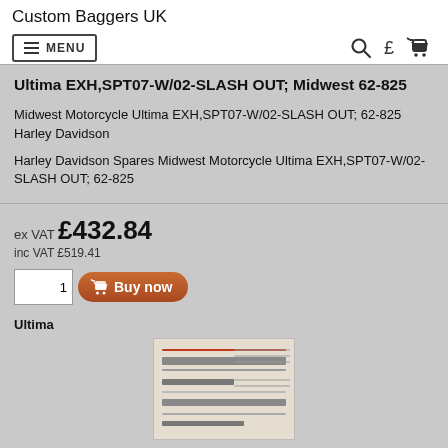Custom Baggers UK
≡ MENU
Ultima EXH,SPT07-W/02-SLASH OUT; Midwest 62-825
Midwest Motorcycle Ultima EXH,SPT07-W/02-SLASH OUT; 62-825 Harley Davidson
Harley Davidson Spares Midwest Motorcycle Ultima EXH,SPT07-W/02-SLASH OUT; 62-825
ex VAT £432.84
inc VAT £519.41
Ultima
[Figure (photo): Product image showing exhaust parts/components for Ultima EXH,SPT07-W/02-SLASH OUT]